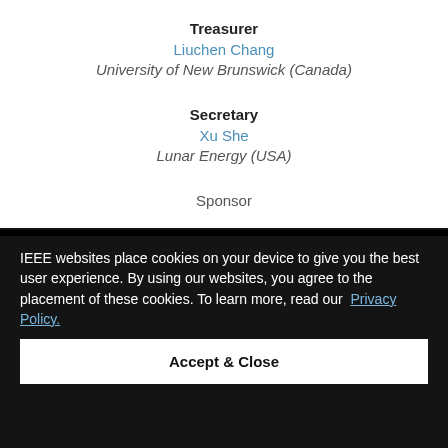Treasurer
Liuchen Chang
University of New Brunswick (Canada)
Secretary
Xu She
Lunar Energy (USA)
Sponsor
IEEE websites place cookies on your device to give you the best user experience. By using our websites, you agree to the placement of these cookies. To learn more, read our Privacy Policy.
Accept & Close